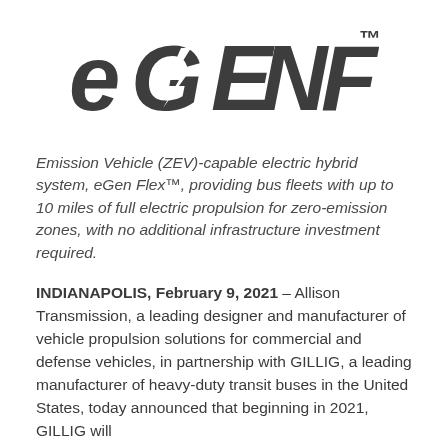[Figure (logo): eGEN Flex™ logo in bold dark gray stylized text with a lightning bolt in the G, and TM superscript]
Emission Vehicle (ZEV)-capable electric hybrid system, eGen Flex™, providing bus fleets with up to 10 miles of full electric propulsion for zero-emission zones, with no additional infrastructure investment required.
INDIANAPOLIS, February 9, 2021 – Allison Transmission, a leading designer and manufacturer of vehicle propulsion solutions for commercial and defense vehicles, in partnership with GILLIG, a leading manufacturer of heavy-duty transit buses in the United States, today announced that beginning in 2021, GILLIG will